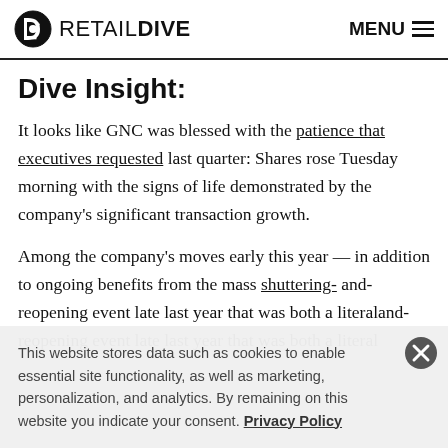RETAIL DIVE  MENU
Dive Insight:
It looks like GNC was blessed with the patience that executives requested last quarter: Shares rose Tuesday morning with the signs of life demonstrated by the company's significant transaction growth.
Among the company's moves early this year — in addition to ongoing benefits from the mass shuttering- and-reopening event late last year that was both a literal
This website stores data such as cookies to enable essential site functionality, as well as marketing, personalization, and analytics. By remaining on this website you indicate your consent. Privacy Policy